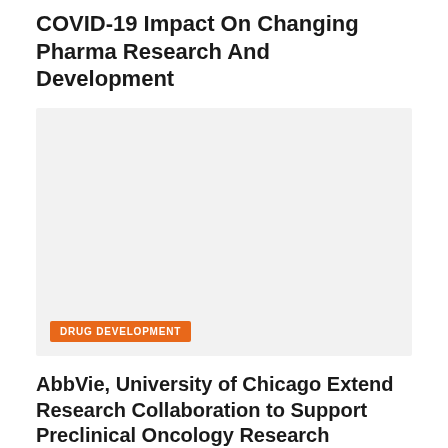COVID-19 Impact On Changing Pharma Research And Development
[Figure (photo): Large image placeholder with light gray background representing a photo related to COVID-19 impact on pharma research and development]
DRUG DEVELOPMENT
AbbVie, University of Chicago Extend Research Collaboration to Support Preclinical Oncology Research Through 2025